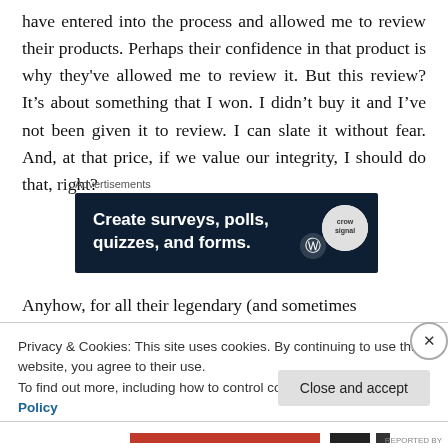have entered into the process and allowed me to review their products. Perhaps their confidence in that product is why they've allowed me to review it. But this review? It's about something that I won. I didn't buy it and I've not been given it to review. I can slate it without fear. And, at that price, if we value our integrity, I should do that, right?
Advertisements
[Figure (infographic): Dark blue advertisement banner reading 'Create surveys, polls, quizzes, and forms.' with WordPress and crowdsignal logos]
Anyhow, for all their legendary (and sometimes infamous)
Privacy & Cookies: This site uses cookies. By continuing to use this website, you agree to their use.
To find out more, including how to control cookies, see here: Cookie Policy
Close and accept